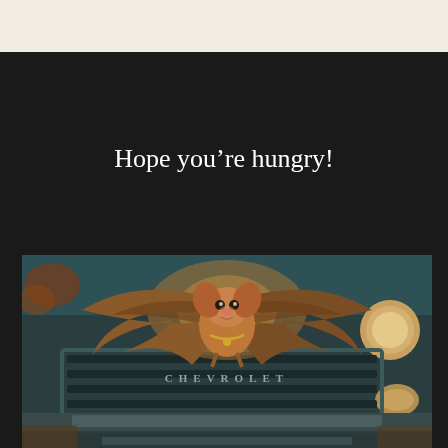Hope you’re hungry!
[Figure (illustration): A whimsical illustration of a bat-like creature with a puppy face and golden chain necklace, wings spread wide, perched on the front grille of a rusty vintage Chevrolet truck. The truck grille reads 'CHEVROLET' in raised lettering, and the scene has a dramatic, painterly quality with warm sunset tones against teal and rust-colored metal.]